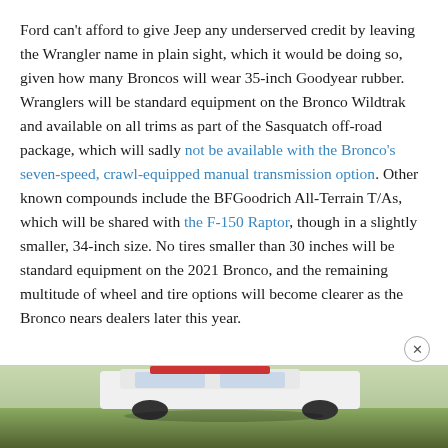Ford can't afford to give Jeep any underserved credit by leaving the Wrangler name in plain sight, which it would be doing so, given how many Broncos will wear 35-inch Goodyear rubber. Wranglers will be standard equipment on the Bronco Wildtrak and available on all trims as part of the Sasquatch off-road package, which will sadly not be available with the Bronco's seven-speed, crawl-equipped manual transmission option. Other known compounds include the BFGoodrich All-Terrain T/As, which will be shared with the F-150 Raptor, though in a slightly smaller, 34-inch size. No tires smaller than 30 inches will be standard equipment on the 2021 Bronco, and the remaining multitude of wheel and tire options will become clearer as the Bronco nears dealers later this year.
[Figure (photo): Partial view of a vehicle (likely Ford Bronco) with green/earthy tones, cropped at the bottom of the page]